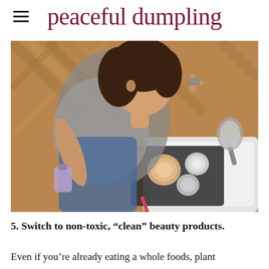peaceful dumpling
[Figure (photo): Overhead view of a young woman sitting on a wooden floor, holding a perfume bottle and looking at makeup products spread on a white surface, including powder compacts and a mirror.]
5. Switch to non-toxic, “clean” beauty products.
Even if you’re already eating a whole foods, plant